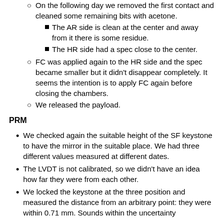On the following day we removed the first contact and cleaned some remaining bits with acetone.
The AR side is clean at the center and away from it there is some residue.
The HR side had a spec close to the center.
FC was applied again to the HR side and the spec became smaller but it didn't disappear completely. It seems the intention is to apply FC again before closing the chambers.
We released the payload.
PRM
We checked again the suitable height of the SF keystone to have the mirror in the suitable place. We had three different values measured at different dates.
The LVDT is not calibrated, so we didn't have an idea how far they were from each other.
We locked the keystone at the three position and measured the distance from an arbitrary point: they were within 0.71 mm. Sounds within the uncertainty